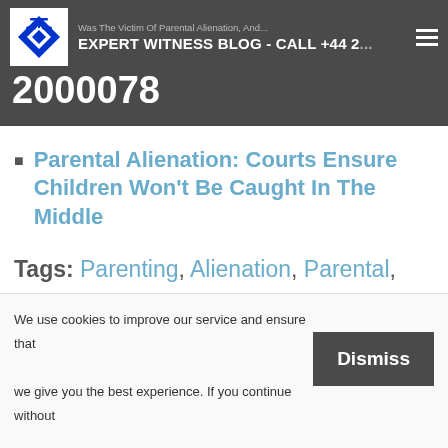EXPERT WITNESS BLOG - CALL +44 2... 2000078
Parental Alienation: Courts Ensure Children Won't Be Caught In The Middle
Tags: Parenting, Alienation, Parental,
We use cookies to improve our service and ensure that we give you the best experience. If you continue without changing your settings, we will assume that you are happy to receive all cookies on our website.